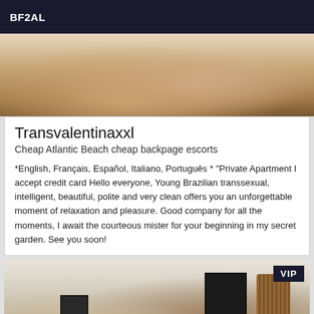BF2AL
[Figure (photo): Close-up photo of a person's hand and wrist with a bracelet, resting on a white surface]
Transvalentinaxxl
Cheap Atlantic Beach cheap backpage escorts
*English, Français, Español, Italiano, Português * "Private Apartment I accept credit card Hello everyone, Young Brazilian transsexual, intelligent, beautiful, polite and very clean offers you an unforgettable moment of relaxation and pleasure. Good company for all the moments, I await the courteous mister for your beginning in my secret garden. See you soon!
[Figure (photo): Interior room photo showing framed pictures on wall and a decorative lamp/basket in the corner, with VIP badge overlay]